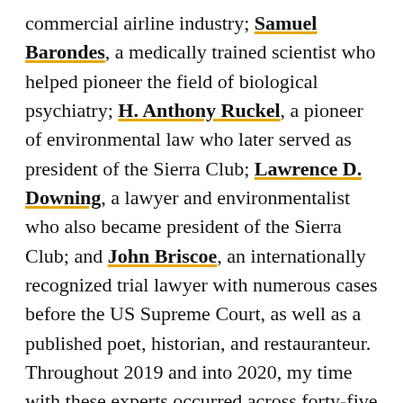commercial airline industry; Samuel Barondes, a medically trained scientist who helped pioneer the field of biological psychiatry; H. Anthony Ruckel, a pioneer of environmental law who later served as president of the Sierra Club; Lawrence D. Downing, a lawyer and environmentalist who also became president of the Sierra Club; and John Briscoe, an internationally recognized trial lawyer with numerous cases before the US Supreme Court, as well as a published poet, historian, and restauranteur. Throughout 2019 and into 2020, my time with these experts occurred across forty-five separate interview sessions that recorded over 110 hours of oral history.